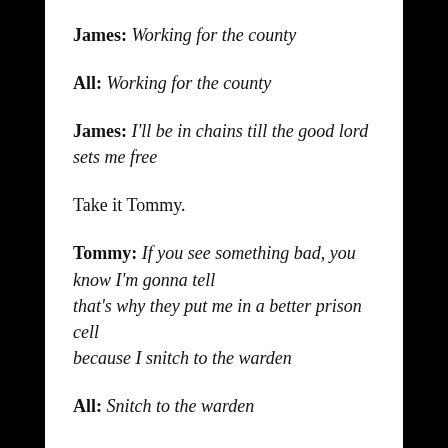James: Working for the county
All: Working for the county
James: I'll be in chains till the good lord sets me free
Take it Tommy.
Tommy: If you see something bad, you know I'm gonna tell
that's why they put me in a better prison cell
because I snitch to the warden
All: Snitch to the warden